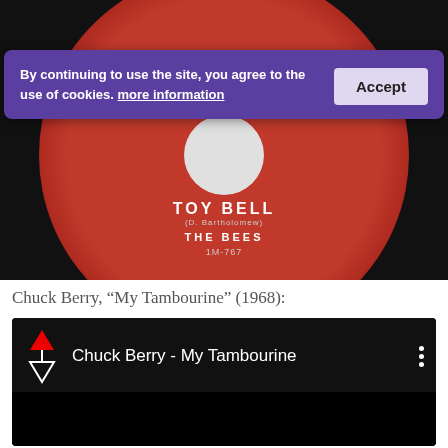[Figure (screenshot): A vinyl record label showing 'TOY BELL (D. Bartholomew) THE BEES 1M-767' on a red label, with a cookie consent banner overlaid reading 'By continuing to use the site, you agree to the use of cookies. more information' with an Accept button.]
Chuck Berry, “My Tambourine” (1968):
[Figure (screenshot): A YouTube embed showing 'Chuck Berry - My Tambourine' with a red upload/sort icon on the left and a three-dot menu on the right. The video area is black.]